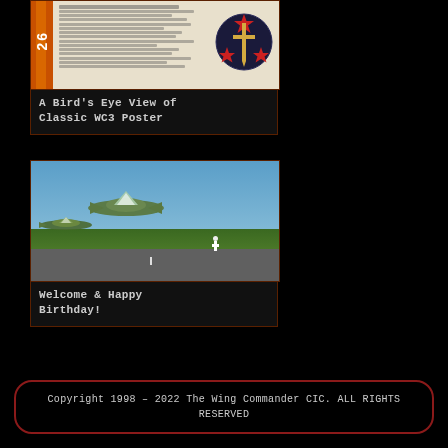[Figure (photo): Wing Commander 3 classic poster showing a circular badge with red stars and a sword on dark background, alongside a document/magazine page with orange diagonal stripe on left side]
A Bird's Eye View of Classic WC3 Poster
[Figure (photo): Outdoor photo showing two spacecraft models (resembling Wing Commander ships) flying over an airfield with a person standing on the runway, blue sky and green grass in background]
Welcome & Happy Birthday!
Copyright 1998 – 2022 The Wing Commander CIC. ALL RIGHTS RESERVED